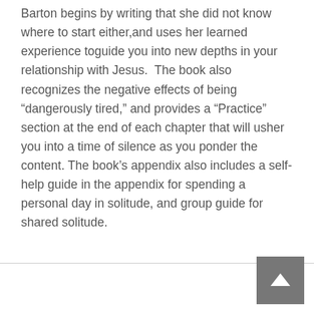Barton begins by writing that she did not know where to start either,and uses her learned experience toguide you into new depths in your relationship with Jesus.  The book also recognizes the negative effects of being “dangerously tired,” and provides a “Practice” section at the end of each chapter that will usher you into a time of silence as you ponder the content. The book’s appendix also includes a self-help guide in the appendix for spending a personal day in solitude, and group guide for shared solitude.